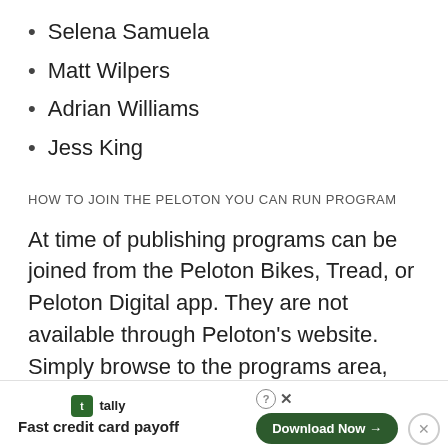Selena Samuela
Matt Wilpers
Adrian Williams
Jess King
HOW TO JOIN THE PELOTON YOU CAN RUN PROGRAM
At time of publishing programs can be joined from the Peloton Bikes, Tread, or Peloton Digital app. They are not available through Peloton's website. Simply browse to the programs area, find the You Can Run program, and join the program.
SCHEDULE & CLASS LIST FOR PELOTON'S "YOU CAN RUN" PROG
[Figure (other): Tally app advertisement banner at bottom of page with 'Fast credit card payoff' tagline and 'Download Now' button]